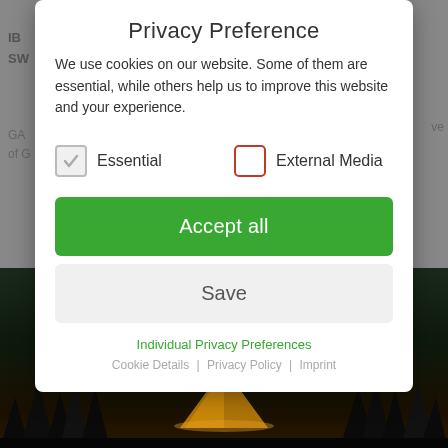[Figure (screenshot): Dimmed website background with partial text 'IBA' and 'SW' visible, and a dark outdoor/camping photo with tent at bottom]
Privacy Preference
We use cookies on our website. Some of them are essential, while others help us to improve this website and your experience.
Essential (checked) | External Media (unchecked)
Accept all
Save
Individual Privacy Preferences
Cookie Details | Privacy Policy | Imprint